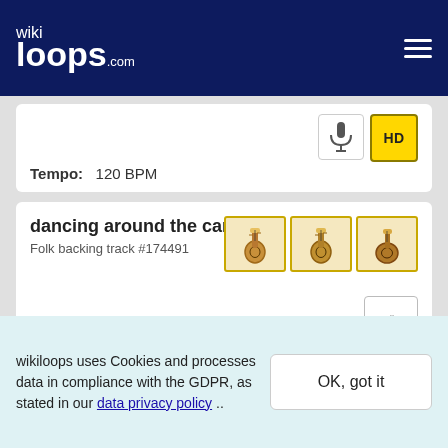wikiloops.com
Tempo: 120 BPM
dancing around the campfire
Folk backing track #174491
¿Monchitos?--NO BASS
wikiloops uses Cookies and processes data in compliance with the GDPR, as stated in our data privacy policy ..